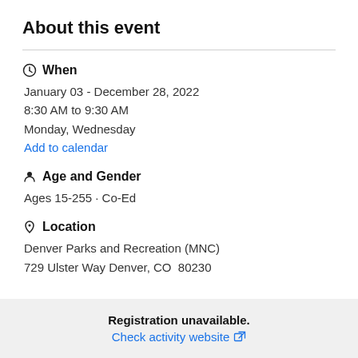About this event
When
January 03 - December 28, 2022
8:30 AM to 9:30 AM
Monday, Wednesday
Add to calendar
Age and Gender
Ages 15-255 · Co-Ed
Location
Denver Parks and Recreation (MNC)
729 Ulster Way Denver, CO  80230
Registration unavailable.
Check activity website